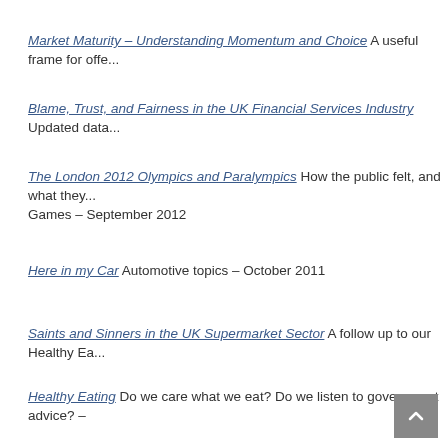Market Maturity – Understanding Momentum and Choice A useful frame for offe...
Blame, Trust, and Fairness in the UK Financial Services Industry Updated data...
The London 2012 Olympics and Paralympics How the public felt, and what they... Games – September 2012
Here in my Car Automotive topics – October 2011
Saints and Sinners in the UK Supermarket Sector A follow up to our Healthy Ea...
Healthy Eating Do we care what we eat? Do we listen to government advice? –
Green. The New Black? A look at a number of green and environmental issues...
Blame, Trust, and Fairness in the UK Financial Services Industry In the fallout f... we blame, and more importantly who are we still prepared to trust? – March 20...